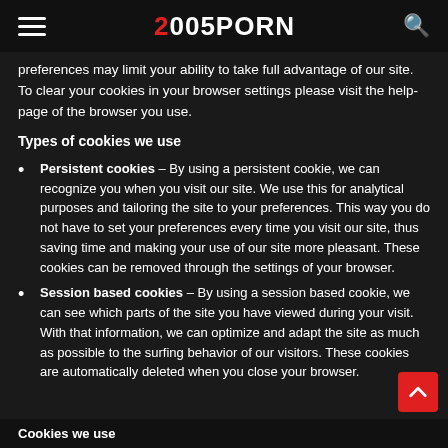2005PORN
preferences may limit your ability to take full advantage of our site. To clear your cookies in your browser settings please visit the help-page of the browser you use.
Types of cookies we use
Persistent cookies – By using a persistent cookie, we can recognize you when you visit our site. We use this for analytical purposes and tailoring the site to your preferences. This way you do not have to set your preferences every time you visit our site, thus saving time and making your use of our site more pleasant. These cookies can be removed through the settings of your browser.
Session based cookies – By using a session based cookie, we can see which parts of the site you have viewed during your visit. With that information, we can optimize and adapt the site as much as possible to the surfing behavior of our visitors. These cookies are automatically deleted when you close your browser.
Cookies we use